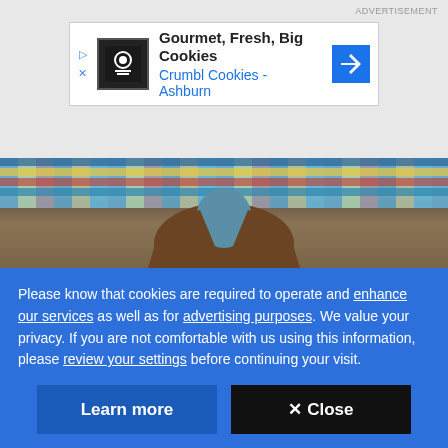[Figure (other): Advertisement banner for Crumbl Cookies - Ashburn with cookie icon and navigation arrow icon]
[Figure (photo): Partial photo of a person wearing a brown leather jacket in front of a colorful mosaic tile wall]
Q & A
Former Afghanistan correspondent reflects on what he once believed was a 'noble war'
Former Globe and Mail correspondent Graeme
Please know that cookies are required to operate and enhance our services as well as for advertising purposes. We value your privacy. If you are not comfortable with us using this information, please review your settings before continuing your visit.